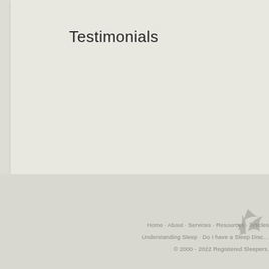Testimonials
[Figure (logo): Decorative bird/leaf logo watermark in light grey]
Home · About · Services · Resources · Articles
Understanding Sleep · Do I have a Sleep Disc…
© 2000 - 2022 Registered Sleepers.